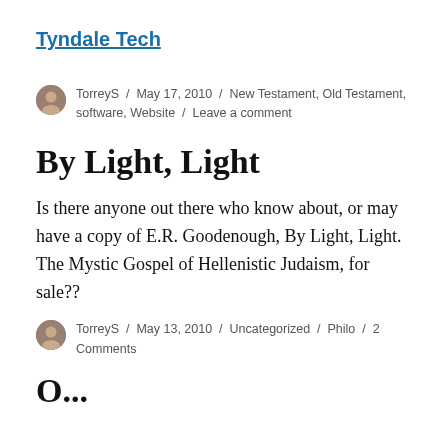Tyndale Tech
TorreyS / May 17, 2010 / New Testament, Old Testament, software, Website / Leave a comment
By Light, Light
Is there anyone out there who know about, or may have a copy of E.R. Goodenough, By Light, Light. The Mystic Gospel of Hellenistic Judaism, for sale??
TorreyS / May 13, 2010 / Uncategorized / Philo / 2 Comments
O...